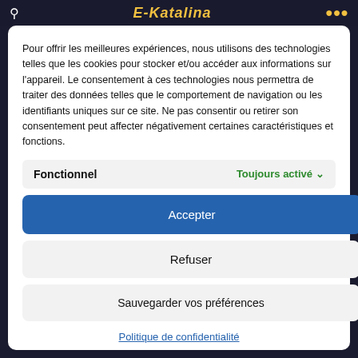E-Katalina
Pour offrir les meilleures expériences, nous utilisons des technologies telles que les cookies pour stocker et/ou accéder aux informations sur l'appareil. Le consentement à ces technologies nous permettra de traiter des données telles que le comportement de navigation ou les identifiants uniques sur ce site. Ne pas consentir ou retirer son consentement peut affecter négativement certaines caractéristiques et fonctions.
Fonctionnel — Toujours activé
Accepter
Refuser
Sauvegarder vos préférences
Politique de confidentialité